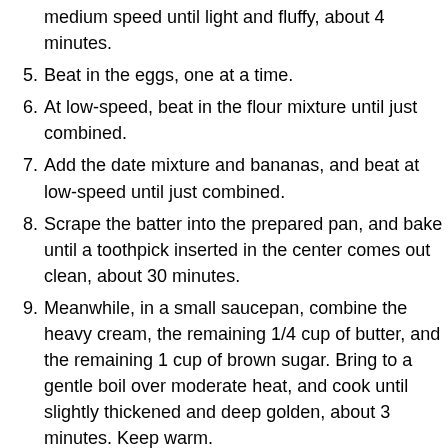medium speed until light and fluffy, about 4 minutes.
5. Beat in the eggs, one at a time.
6. At low-speed, beat in the flour mixture until just combined.
7. Add the date mixture and bananas, and beat at low-speed until just combined.
8. Scrape the batter into the prepared pan, and bake until a toothpick inserted in the center comes out clean, about 30 minutes.
9. Meanwhile, in a small saucepan, combine the heavy cream, the remaining 1/4 cup of butter, and the remaining 1 cup of brown sugar. Bring to a gentle boil over moderate heat, and cook until slightly thickened and deep golden, about 3 minutes. Keep warm.
10. Transfer the pan to a wire rack. Using a skewer or toothpick, poke holes all over the cake.